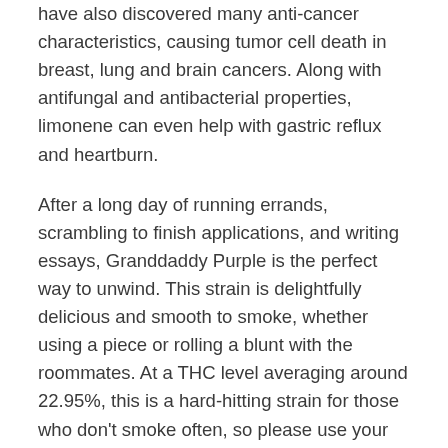have also discovered many anti-cancer characteristics, causing tumor cell death in breast, lung and brain cancers. Along with antifungal and antibacterial properties, limonene can even help with gastric reflux and heartburn.
After a long day of running errands, scrambling to finish applications, and writing essays, Granddaddy Purple is the perfect way to unwind. This strain is delightfully delicious and smooth to smoke, whether using a piece or rolling a blunt with the roommates. At a THC level averaging around 22.95%, this is a hard-hitting strain for those who don't smoke often, so please use your best judgment. However, this is not an anxiety inducer, as all your worries simply melt away. Perfect for enjoying some Cards Against Humanity with friends, this is a great strain to have on hand for any 4/20 celebration. Even smoking alone, Granddaddy Purple makes any comedic or creative activity much more engaging and enjoyable.